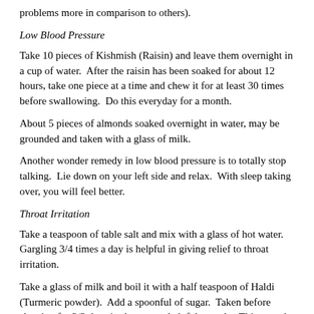problems more in comparison to others).
Low Blood Pressure
Take 10 pieces of Kishmish (Raisin) and leave them overnight in a cup of water.  After the raisin has been soaked for about 12 hours, take one piece at a time and chew it for at least 30 times before swallowing.  Do this everyday for a month.
About 5 pieces of almonds soaked overnight in water, may be grounded and taken with a glass of milk.
Another wonder remedy in low blood pressure is to totally stop talking.  Lie down on your left side and relax.  With sleep taking over, you will feel better.
Throat Irritation
Take a teaspoon of table salt and mix with a glass of hot water. Gargling 3/4 times a day is helpful in giving relief to throat irritation.
Take a glass of milk and boil it with a half teaspoon of Haldi (Turmeric powder).  Add a spoonful of sugar.  Taken before sleeping for 2/3 days is also a very helpful remedy.  This remedy is also very useful in cough, colds and flu.
Weak Memory